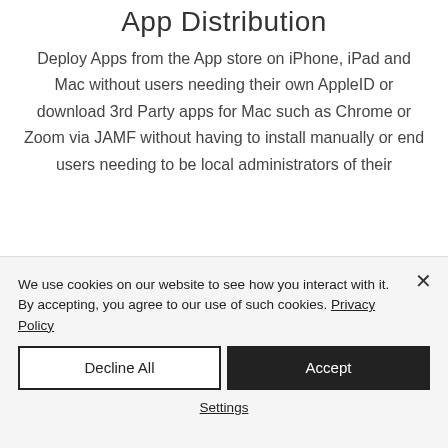App Distribution
Deploy Apps from the App store on iPhone, iPad and Mac without users needing their own AppleID or download 3rd Party apps for Mac such as Chrome or Zoom via JAMF without having to install manually or end users needing to be local administrators of their
We use cookies on our website to see how you interact with it. By accepting, you agree to our use of such cookies. Privacy Policy
Decline All
Accept
Settings